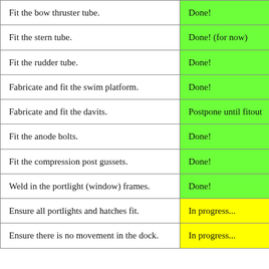| Task | Status |
| --- | --- |
| Fit the bow thruster tube. | Done! |
| Fit the stern tube. | Done! (for now) |
| Fit the rudder tube. | Done! |
| Fabricate and fit the swim platform. | Done! |
| Fabricate and fit the davits. | Postpone until fitout |
| Fit the anode bolts. | Done! |
| Fit the compression post gussets. | Done! |
| Weld in the portlight (window) frames. | Done! |
| Ensure all portlights and hatches fit. | In progress... |
| Ensure there is no movement in the dock. | In progress... |